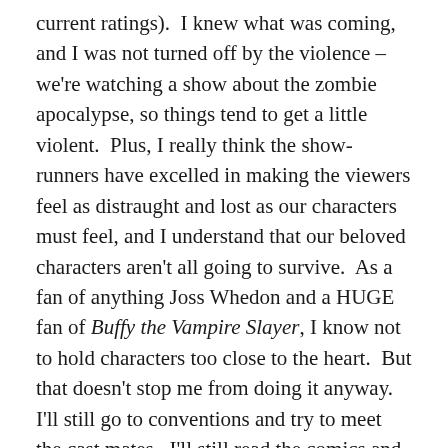current ratings).  I knew what was coming, and I was not turned off by the violence – we're watching a show about the zombie apocalypse, so things tend to get a little violent.  Plus, I really think the show-runners have excelled in making the viewers feel as distraught and lost as our characters must feel, and I understand that our beloved characters aren't all going to survive.  As a fan of anything Joss Whedon and a HUGE fan of Buffy the Vampire Slayer, I know not to hold characters too close to the heart.  But that doesn't stop me from doing it anyway.  I'll still go to conventions and try to meet the cast mates.  I'll still read the comics and the novel series (which is on its 7th book).  And I'll still watch The Walking Dead and any spin-off